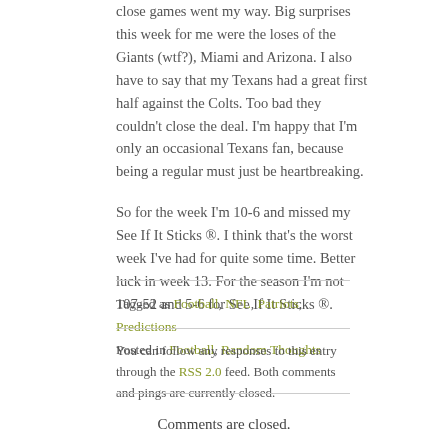close games went my way. Big surprises this week for me were the loses of the Giants (wtf?), Miami and Arizona. I also have to say that my Texans had a great first half against the Colts. Too bad they couldn't close the deal. I'm happy that I'm only an occasional Texans fan, because being a regular must just be heartbreaking.
So for the week I'm 10-6 and missed my See If It Sticks ®. I think that's the worst week I've had for quite some time. Better luck in week 13. For the season I'm not 107-52 and 5-6 for See If It Sticks ®.
Tagged as Football, NFL, Patriots, Predictions
Posted in Football, Random Thoughts
You can follow any responses to this entry through the RSS 2.0 feed. Both comments and pings are currently closed.
Comments are closed.